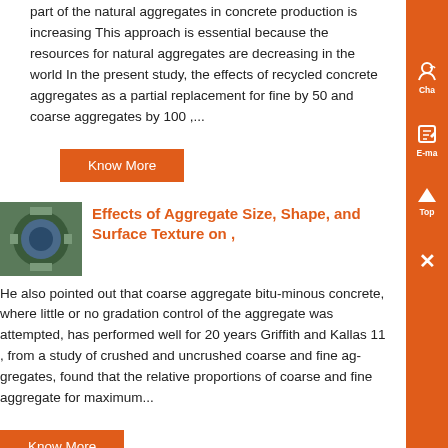part of the natural aggregates in concrete production is increasing This approach is essential because the resources for natural aggregates are decreasing in the world In the present study, the effects of recycled concrete aggregates as a partial replacement for fine by 50 and coarse aggregates by 100 ,...
Know More
Effects of Aggregate Size, Shape, and Surface Texture on ,
He also pointed out that coarse aggregate bitu-minous concrete, where little or no gradation control of the aggregate was attempted, has performed well for 20 years Griffith and Kallas 11 , from a study of crushed and uncrushed coarse and fine ag-gregates, found that the relative proportions of coarse and fine aggregate for maximum...
Know More
[Figure (photo): Thumbnail photo of industrial machinery, appears to be a large blower or fan unit in green/blue color inside a facility]